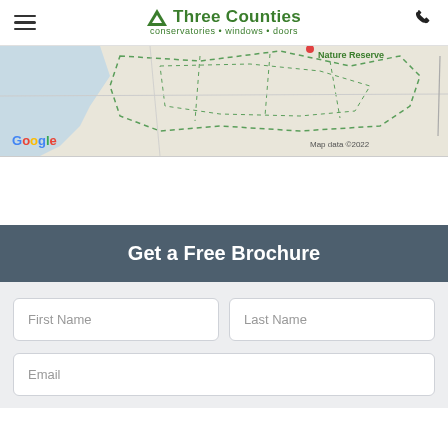Three Counties conservatories • windows • doors
[Figure (map): Google Maps partial view showing a nature preserve area with dashed green boundary lines and a blue water region. Google logo visible at bottom left, 'Map data ©2022' at bottom right. 'Nature Reserve' label partially visible at top right.]
Get a Free Brochure
First Name
Last Name
Email